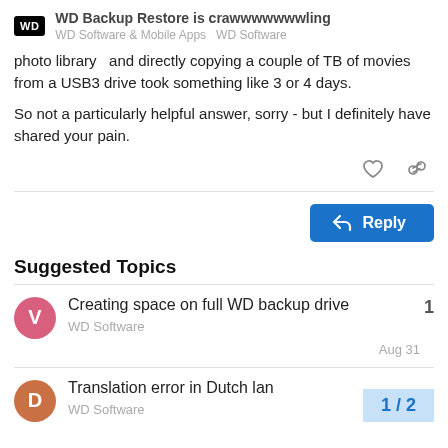WD Backup Restore is crawwwwwwwling | WD Software & Mobile Apps  WD Software
photo library  and directly copying a couple of TB of movies from a USB3 drive took something like 3 or 4 days.
So not a particularly helpful answer, sorry - but I definitely have shared your pain.
Reply
Suggested Topics
Creating space on full WD backup drive
WD Software
Aug 31
1
Translation error in Dutch lan
WD Software
1 / 2